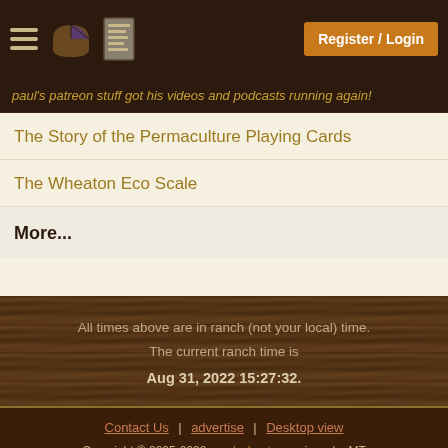Register / Login
paul's patreon stuff got his videos and podcasts running again!
The Story of the Permaculture Playing Cards
The Wheaton Eco Scale
More...
All times above are in ranch (not your local) time. The current ranch time is Aug 31, 2022 15:27:32.
Contact Us | advertise | Desktop view
Copyright © 2005-2022 paul wheaton , missoula, MT